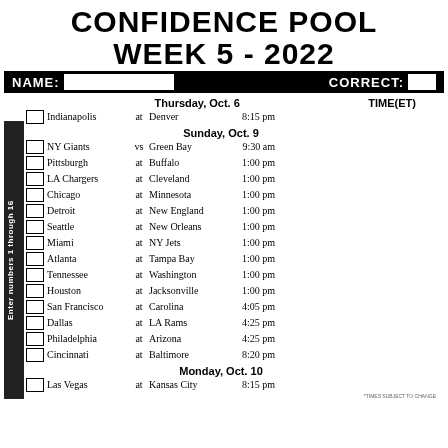CONFIDENCE POOL WEEK 5 - 2022
| Pick | Away | vs/at | Home | TIME(ET) |
| --- | --- | --- | --- | --- |
|  | Indianapolis | at | Denver | 8:15 pm |
|  | NY Giants | vs | Green Bay | 9:30 am |
|  | Pittsburgh | at | Buffalo | 1:00 pm |
|  | LA Chargers | at | Cleveland | 1:00 pm |
|  | Chicago | at | Minnesota | 1:00 pm |
|  | Detroit | at | New England | 1:00 pm |
|  | Seattle | at | New Orleans | 1:00 pm |
|  | Miami | at | NY Jets | 1:00 pm |
|  | Atlanta | at | Tampa Bay | 1:00 pm |
|  | Tennessee | at | Washington | 1:00 pm |
|  | Houston | at | Jacksonville | 1:00 pm |
|  | San Francisco | at | Carolina | 4:05 pm |
|  | Dallas | at | LA Rams | 4:25 pm |
|  | Philadelphia | at | Arizona | 4:25 pm |
|  | Cincinnati | at | Baltimore | 8:20 pm |
|  | Las Vegas | at | Kansas City | 8:15 pm |
*TIMES SUBJECT TO CHANGE